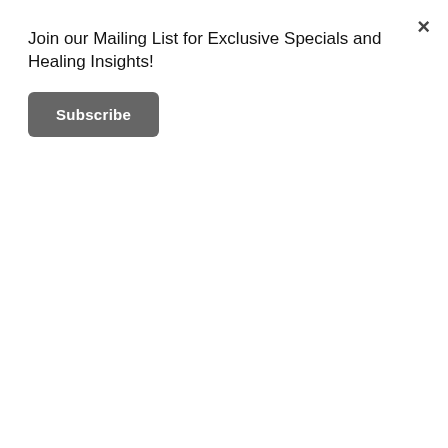Join our Mailing List for Exclusive Specials and Healing Insights!
Subscribe
Facial Acupuncture
Facial Paralysis
Facial Rejuvenation
Fat Loss
Fertility
Five Spirits
Flexible Dieting
Forgiveness
Healer
Health Coaching
Health & Wellness
Herbal Medicine
How Acupuncture Works
Hypnotherapy